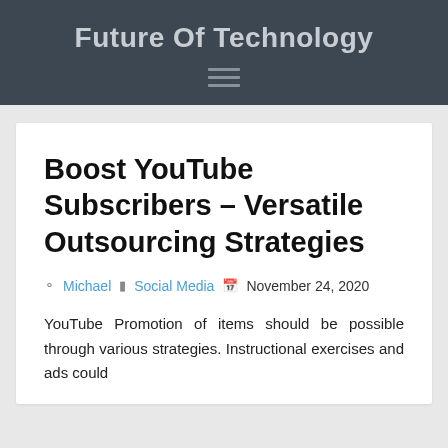Future Of Technology
Boost YouTube Subscribers – Versatile Outsourcing Strategies
Michael  Social Media  November 24, 2020
YouTube Promotion of items should be possible through various strategies. Instructional exercises and ads could